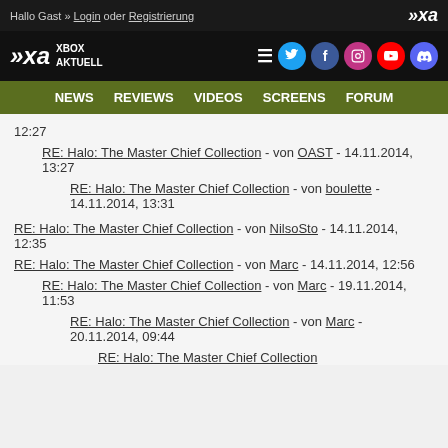Hallo Gast » Login oder Registrierung
[Figure (logo): Xbox Aktuell logo with XA icon and social media icons]
NEWS  REVIEWS  VIDEOS  SCREENS  FORUM
12:27
RE: Halo: The Master Chief Collection - von OAST - 14.11.2014, 13:27
RE: Halo: The Master Chief Collection - von boulette - 14.11.2014, 13:31
RE: Halo: The Master Chief Collection - von NilsoSto - 14.11.2014, 12:35
RE: Halo: The Master Chief Collection - von Marc - 14.11.2014, 12:56
RE: Halo: The Master Chief Collection - von Marc - 19.11.2014, 11:53
RE: Halo: The Master Chief Collection - von Marc - 20.11.2014, 09:44
RE: Halo: The Master Chief Collection